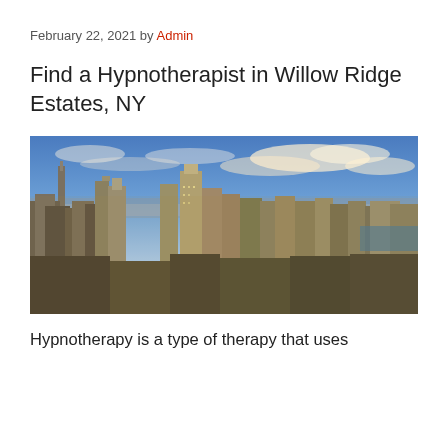February 22, 2021 by Admin
Find a Hypnotherapist in Willow Ridge Estates, NY
[Figure (photo): Aerial cityscape view of New York City skyscrapers under a dramatic cloudy sky]
Hypnotherapy is a type of therapy that uses